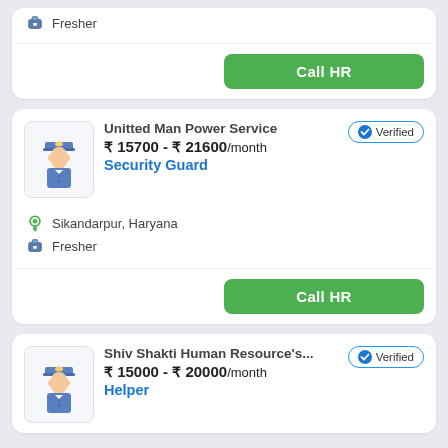Fresher
Call HR
Unitted Man Power Service
₹ 15700 - ₹ 21600/month
Security Guard
Sikandarpur, Haryana
Fresher
Verified
Call HR
Shiv Shakti Human Resource's...
₹ 15000 - ₹ 20000/month
Helper
Verified